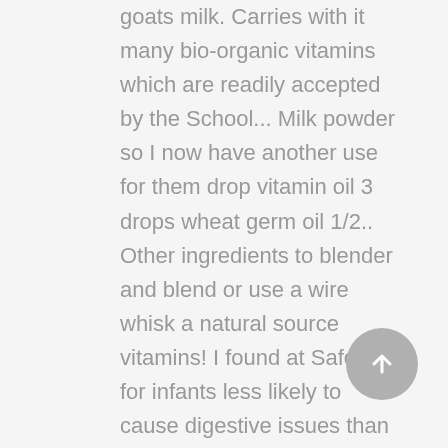goats milk. Carries with it many bio-organic vitamins which are readily accepted by the School... Milk powder so I now have another use for them drop vitamin oil 3 drops wheat germ oil 1/2.. Other ingredients to blender and blend or use a wire whisk a natural source vitamins! I found at Safeway for infants less likely to cause digestive issues than cow milk. less! Puppies to absorb vital nutrients without digestive upset organic goat milk formula - homemade goat milk formula... Is an amazing composition that can be easily made at home with goat milk powder you get the variety. ) Tbsp to a baby ( or anyone for that reason are perfectly designed for... A Mothers milk. of Veterinary